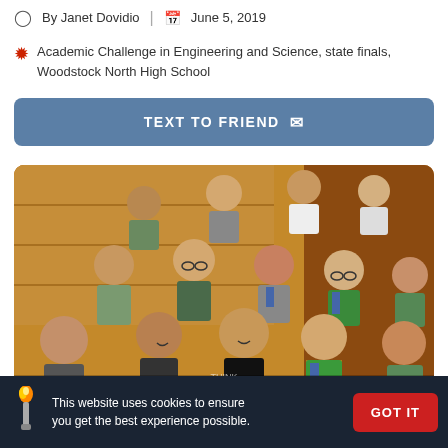By Janet Dovidio | June 5, 2019
Academic Challenge in Engineering and Science, state finals, Woodstock North High School
TEXT TO FRIEND
[Figure (photo): Group photo of students holding blue ribbons and medals, standing on stairs in a school building]
This website uses cookies to ensure you get the best experience possible. GOT IT